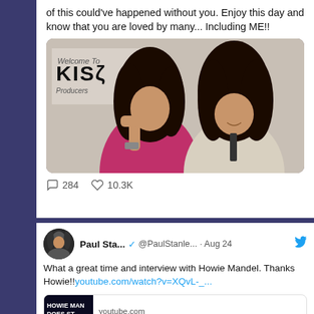of this could've happened without you. Enjoy this day and know that you are loved by many... Including ME!!
[Figure (photo): Photo of two people with long hair in front of a KISS backdrop]
284  10.3K (reply and like counts)
Paul Sta... @PaulStanle... · Aug 24
What a great time and interview with Howie Mandel. Thanks Howie!! youtube.com/watch?v=XQvL-_...
[Figure (screenshot): YouTube link preview: HOWIE MAN DOES ST - Why Paul Stanley from KISS]